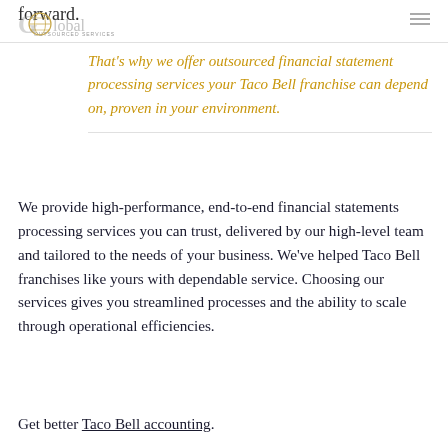forward.
[Figure (logo): Global logo with stylized globe in the letter O]
That's why we offer outsourced financial statement processing services your Taco Bell franchise can depend on, proven in your environment.
We provide high-performance, end-to-end financial statements processing services you can trust, delivered by our high-level team and tailored to the needs of your business. We've helped Taco Bell franchises like yours with dependable service. Choosing our services gives you streamlined processes and the ability to scale through operational efficiencies.
Get better Taco Bell accounting.